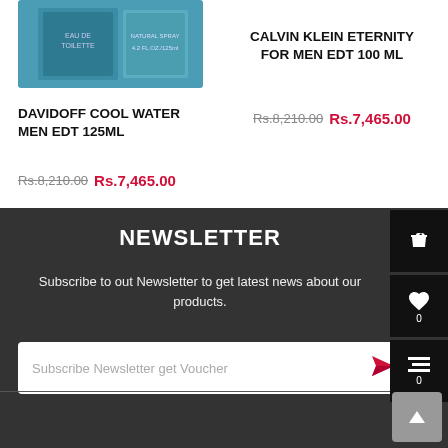[Figure (photo): Product image of Davidoff Cool Water Men EDT 125ml perfume box in teal/blue color]
DAVIDOFF COOL WATER MEN EDT 125ML
Rs.8,210.00 Rs.7,465.00
CALVIN KLEIN ETERNITY FOR MEN EDT 100 ML
Rs.8,210.00 Rs.7,465.00
NEWSLETTER
Subscribe to out Newsletter to get latest news about our products.
Subscribe Newsletter get Voucher